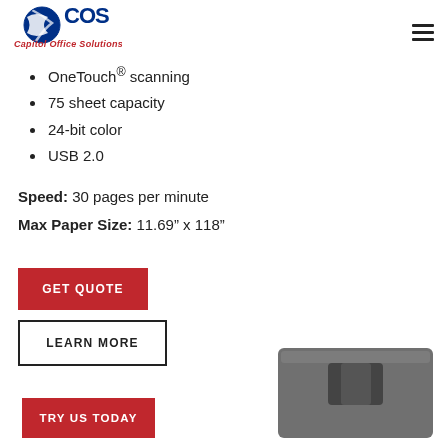[Figure (logo): Capitol Office Solutions (COS) logo with blue swirl globe icon and red italic text 'Capitol Office Solutions']
OneTouch® scanning
75 sheet capacity
24-bit color
USB 2.0
Speed: 30 pages per minute
Max Paper Size: 11.69" x 118"
GET QUOTE
LEARN MORE
TRY US TODAY
[Figure (photo): Partial view of a dark grey/black document scanner or feeder component]